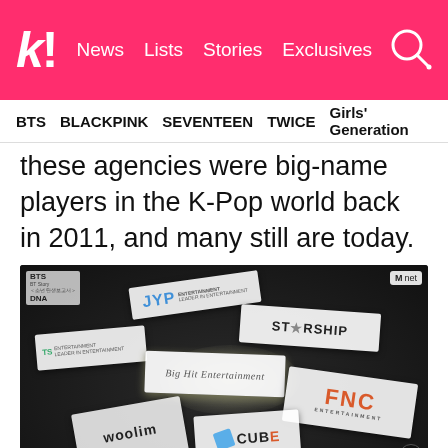k! News  Lists  Stories  Exclusives
BTS  BLACKPINK  SEVENTEEN  TWICE  Girls' Generation
these agencies were big-name players in the K-Pop world back in 2011, and many still are today.
[Figure (screenshot): Screenshot from Mnet BTS Story show showing entertainment company business cards/logos scattered on a dark surface: JYP Entertainment, TS Entertainment, Starship Entertainment, Big Hit Entertainment, FNC Entertainment, Cube Entertainment, Woolim Entertainment. Subtitle bar reads: 정국 무려 명함 7개의 기적]